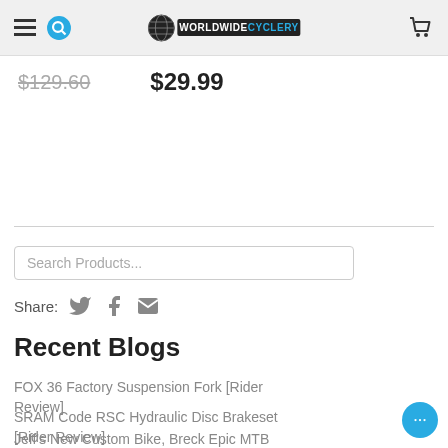Worldwide Cyclery
$129.60  $29.99
Search Products...
Share:
Recent Blogs
FOX 36 Factory Suspension Fork [Rider Review]
SRAM Code RSC Hydraulic Disc Brakeset [Rider Review]
Jeff's New Custom Bike, Breck Epic MTB Race, Mountain Bike Myths & Classic Listener